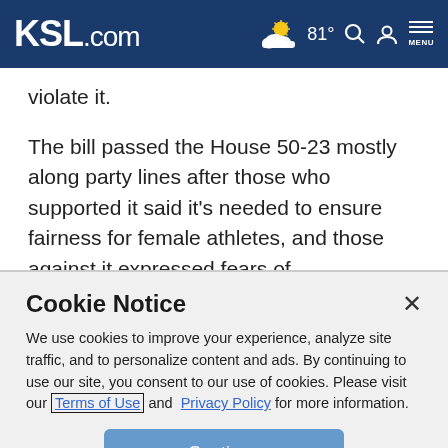KSL.com | 81° | Search | Account | MENU
violate it.
The bill passed the House 50-23 mostly along party lines after those who supported it said it's needed to ensure fairness for female athletes, and those against it expressed fears of unconstitutionality and potential economic ramifications to the state should the bill become law. It will move to the Senate for consideration.
Cookie Notice
We use cookies to improve your experience, analyze site traffic, and to personalize content and ads. By continuing to use our site, you consent to our use of cookies. Please visit our Terms of Use and Privacy Policy for more information.